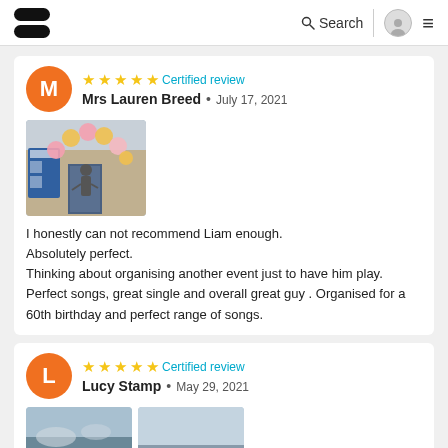Bark logo | Search | User icon | Menu
★★★★★ Certified review
Mrs Lauren Breed • July 17, 2021
[Figure (photo): Photo of event with balloon arch and performer outside a building]
I honestly can not recommend Liam enough. Absolutely perfect.
Thinking about organising another event just to have him play. Perfect songs, great single and overall great guy . Organised for a 60th birthday and perfect range of songs.
★★★★★ Certified review
Lucy Stamp • May 29, 2021
[Figure (photo): Two outdoor photo thumbnails partially visible at bottom of page]